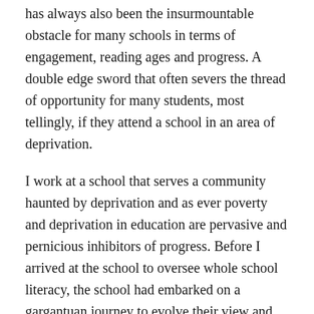has always also been the insurmountable obstacle for many schools in terms of engagement, reading ages and progress. A double edge sword that often severs the thread of opportunity for many students, most tellingly, if they attend a school in an area of deprivation.
I work at a school that serves a community haunted by deprivation and as ever poverty and deprivation in education are pervasive and pernicious inhibitors of progress. Before I arrived at the school to oversee whole school literacy, the school had embarked on a gargantuan journey to evolve their view and implementation of curriculum and teaching and learning. Three years ago, the school made